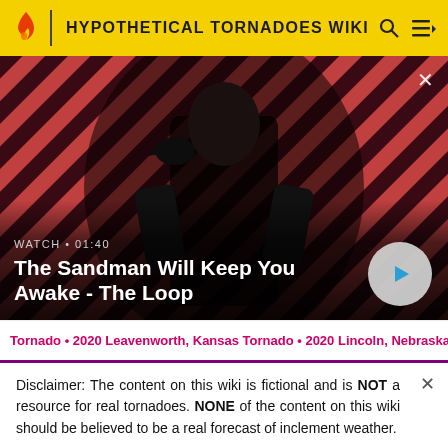HYPOTHETICAL TORNADOES WIKI
[Figure (screenshot): Hero image of a dark-clad figure (The Sandman) standing in front of diagonal red and dark stripe background with a raven on shoulder. Overlay text reads WATCH • 01:40 and The Sandman Will Keep You Awake - The Loop with a play button.]
Tornado • 2020 Leavenworth, Kansas Tornado • 2020 Lincoln, Nebraska Tornado • 2020 Lexington, Kentucky Tornado • 2020
Disclaimer: The content on this wiki is fictional and is NOT a resource for real tornadoes. NONE of the content on this wiki should be believed to be a real forecast of inclement weather.